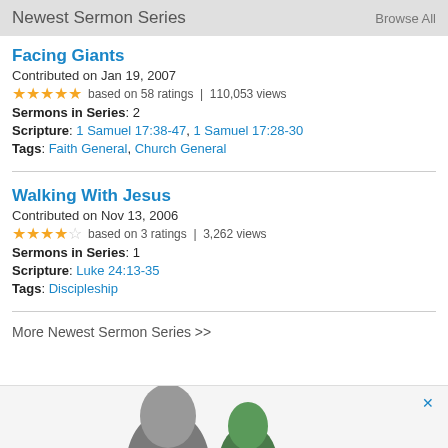Newest Sermon Series    Browse All
Facing Giants
Contributed on Jan 19, 2007
★★★★½ based on 58 ratings | 110,053 views
Sermons in Series: 2
Scripture: 1 Samuel 17:38-47, 1 Samuel 17:28-30
Tags: Faith General, Church General
Walking With Jesus
Contributed on Nov 13, 2006
★★★½☆ based on 3 ratings | 3,262 views
Sermons in Series: 1
Scripture: Luke 24:13-35
Tags: Discipleship
More Newest Sermon Series >>
[Figure (photo): Partial view of a person's head (advertisement area at bottom of page) with a close X button]